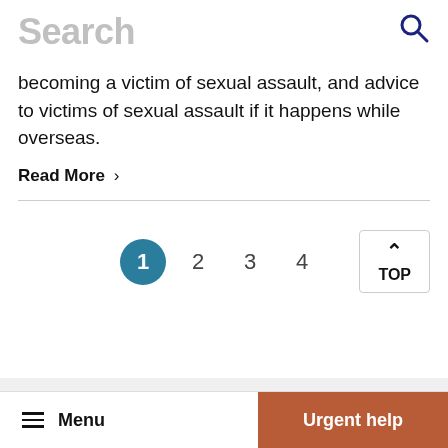Search
becoming a victim of sexual assault, and advice to victims of sexual assault if it happens while overseas.
Read More >
1 2 3 4  TOP  Menu  Urgent help